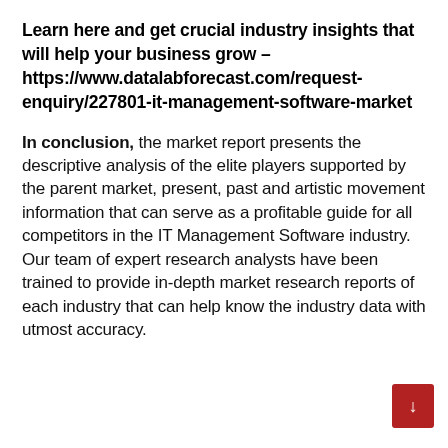Learn here and get crucial industry insights that will help your business grow – https://www.datalabforecast.com/request-enquiry/227801-it-management-software-market
In conclusion, the market report presents the descriptive analysis of the elite players supported by the parent market, present, past and artistic movement information that can serve as a profitable guide for all competitors in the IT Management Software industry. Our team of expert research analysts have been trained to provide in-depth market research reports of each industry that can help know the industry data with utmost accuracy.